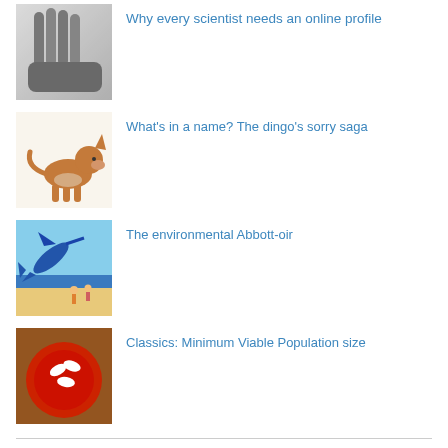[Figure (photo): Black and white photo of hands covering a face]
Why every scientist needs an online profile
[Figure (illustration): Cartoon illustration of a dingo dog sitting]
What's in a name? The dingo's sorry saga
[Figure (illustration): Colourful illustration of a marlin fish jumping near a beach scene]
The environmental Abbott-oir
[Figure (photo): Photo of a red plate with white pills/tablets on a wooden surface]
Classics: Minimum Viable Population size